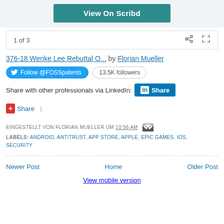[Figure (screenshot): View On Scribd button area with teal background]
1 of 3
376-18 Wenke Lee Rebuttal O... by Florian Mueller
Follow @FOSSpatents  13.5K followers
Share with other professionals via LinkedIn: Share
Share |
EINGESTELLT VON FLORIAN MUELLER UM 10:56 AM
LABELS: ANDROID, ANTITRUST, APP STORE, APPLE, EPIC GAMES, IOS, SECURITY
Newer Post
Home
Older Post
View mobile version